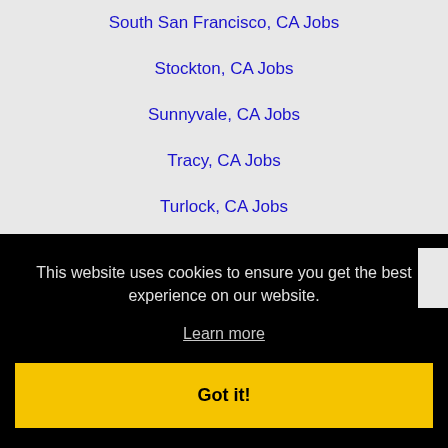South San Francisco, CA Jobs
Stockton, CA Jobs
Sunnyvale, CA Jobs
Tracy, CA Jobs
Turlock, CA Jobs
Union City, CA Jobs
Vacaville, CA Jobs
Walnut Creek, CA Jobs
Watsonville, CA Jobs
West Sacramento, CA Jobs
This website uses cookies to ensure you get the best experience on our website.
Learn more
Got it!